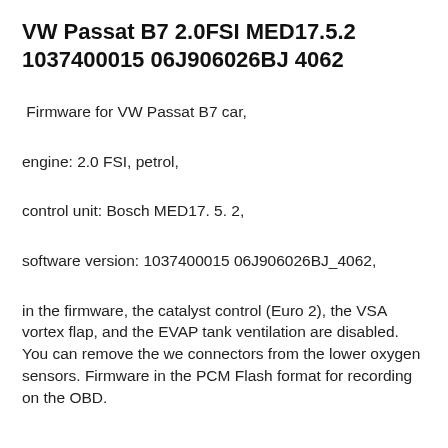VW Passat B7 2.0FSI MED17.5.2 1037400015 06J906026BJ 4062
Firmware for VW Passat B7 car,
engine: 2.0 FSI, petrol,
control unit: Bosch MED17. 5. 2,
software version: 1037400015 06J906026BJ_4062,
in the firmware, the catalyst control (Euro 2), the VSA vortex flap, and the EVAP tank ventilation are disabled. You can remove the we connectors from the lower oxygen sensors. Firmware in the PCM Flash format for recording on the OBD.